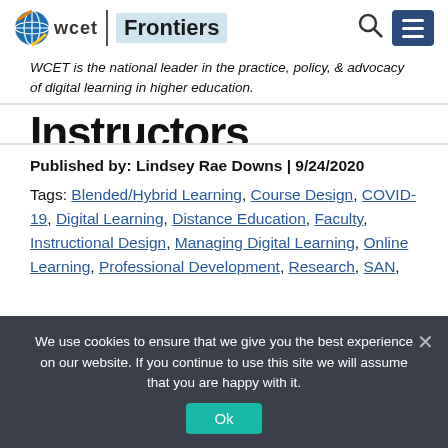WCET Frontiers
WCET is the national leader in the practice, policy, & advocacy of digital learning in higher education.
Instructors (partial, cut off)
Published by: Lindsey Rae Downs | 9/24/2020
Tags: Blended/Hybrid Learning, Course Design, COVID-19, Digital Learning, Distance Education, Faculty, Instructional Design, Managing Digital Learning, Online Learning, Professional Development, Research, SAN,
We use cookies to ensure that we give you the best experience on our website. If you continue to use this site we will assume that you are happy with it.